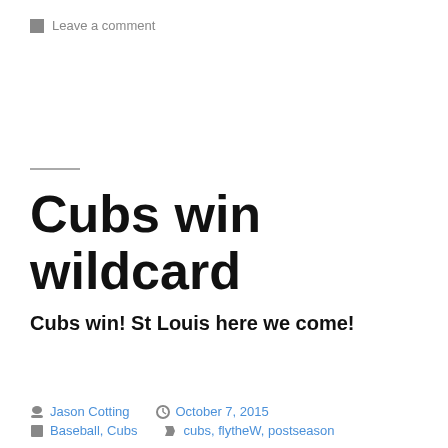Leave a comment
Cubs win wildcard
Cubs win! St Louis here we come!
By Jason Cotting   October 7, 2015   Baseball, Cubs   cubs, flytheW, postseason